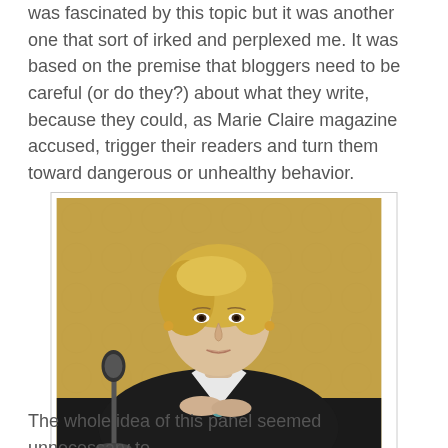was fascinated by this topic but it was another one that sort of irked and perplexed me. It was based on the premise that bloggers need to be careful (or do they?) about what they write, because they could, as Marie Claire magazine accused, trigger their readers and turn them toward dangerous or unhealthy behavior.
[Figure (photo): A blonde woman seated at a table with a microphone, wearing a black top with white accent, in front of a golden/tan patterned background.]
@LisaJohnson, mulling it all
The whole idea of this panel seemed unnecessary to